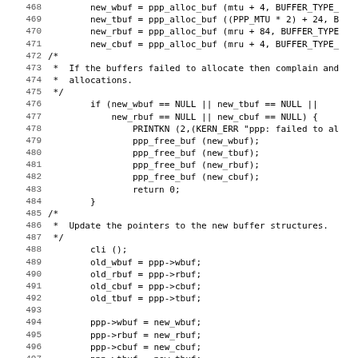Source code listing, lines 468-499, showing PPP buffer allocation and pointer update logic in C.